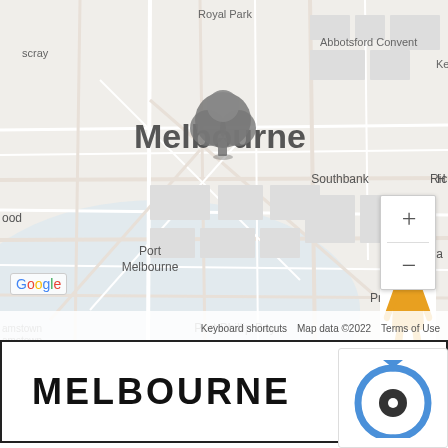[Figure (map): Google Maps screenshot showing Melbourne city area, including suburbs: Royal Park, Abbotsford Convent, Footscray (scray), Southbank, Richmond, Port Melbourne, South Yarra, Prahran, Port Phillip Bay, St Kilda, Williamstown (amstown), Williamstown Gardens (amstown Gardens, ic Gardens). Shows street network in light grey with place name labels. Orange Street View figure on right side, zoom controls (+/-), Google logo and map attribution at bottom.]
MELBOURNE